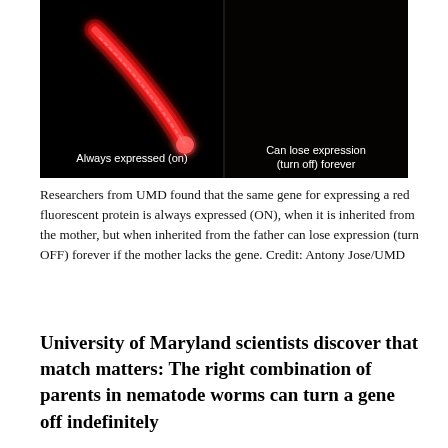[Figure (photo): Two-panel fluorescence microscopy image on black background. Left panel shows a nematode worm glowing red with the label 'Always expressed (on)'. Right panel is mostly dark (no visible worm) with the label 'Can lose expression (turn off) forever'.]
Researchers from UMD found that the same gene for expressing a red fluorescent protein is always expressed (ON), when it is inherited from the mother, but when inherited from the father can lose expression (turn OFF) forever if the mother lacks the gene. Credit: Antony Jose/UMD
University of Maryland scientists discover that match matters: The right combination of parents in nematode worms can turn a gene off indefinitely